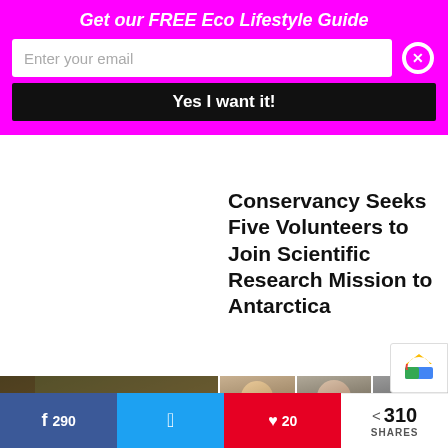Get our FREE Eco Lifestyle Guide
Enter your email
Yes I want it!
Conservancy Seeks Five Volunteers to Join Scientific Research Mission to Antarctica
[Figure (photo): Exterior of a building with wooden panels and 'Go Vegan!!' graffiti with an avocado illustration]
[Figure (photo): Three portrait photos of women side by side]
Conscious Fashion
290
20
310 SHARES